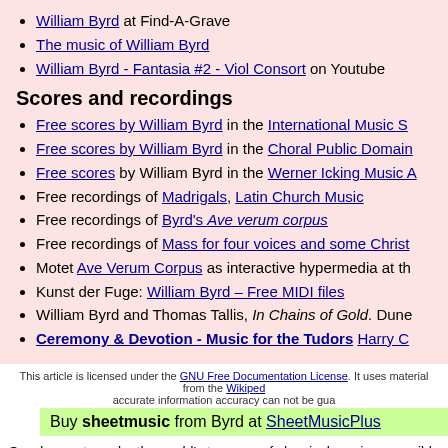William Byrd at Find-A-Grave
The music of William Byrd
William Byrd - Fantasia #2 - Viol Consort on Youtube
Scores and recordings
Free scores by William Byrd in the International Music S…
Free scores by William Byrd in the Choral Public Domain…
Free scores by William Byrd in the Werner Icking Music A…
Free recordings of Madrigals, Latin Church Music
Free recordings of Byrd's Ave verum corpus
Free recordings of Mass for four voices and some Christ…
Motet Ave Verum Corpus as interactive hypermedia at th…
Kunst der Fuge: William Byrd – Free MIDI files
William Byrd and Thomas Tallis, In Chains of Gold. Dune…
Ceremony & Devotion - Music for the Tudors Harry C…
This article is licensed under the GNU Free Documentation License. It uses material from the Wikiped… accurate information accuracy can not be gua…
Buy sheetmusic from Byrd at SheetMusicPlus
Our dream: to make the world's treasury of classical music accessible for everyo…